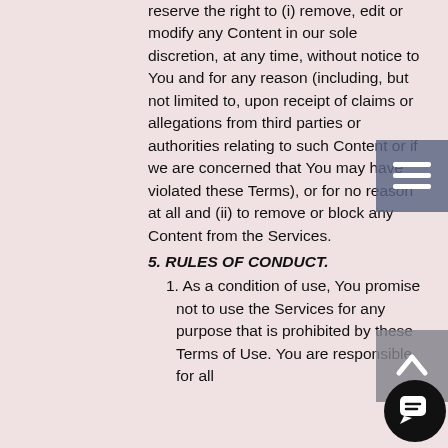reserve the right to (i) remove, edit or modify any Content in our sole discretion, at any time, without notice to You and for any reason (including, but not limited to, upon receipt of claims or allegations from third parties or authorities relating to such Content or if we are concerned that You may have violated these Terms), or for no reason at all and (ii) to remove or block any Content from the Services.
5. RULES OF CONDUCT.
1. As a condition of use, You promise not to use the Services for any purpose that is prohibited by these Terms of Use. You are responsible for all